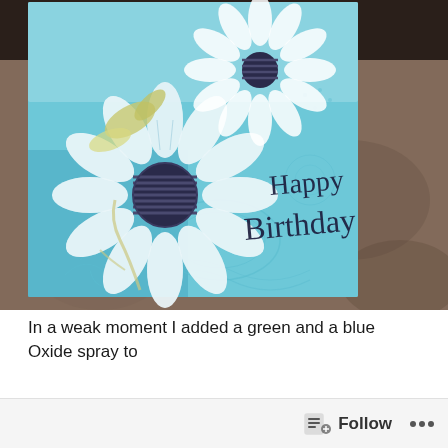[Figure (photo): A handmade birthday card with blue daisy flowers on a teal/blue embossed background with 'Happy Birthday' written in script. The card is watercolored with blue oxide spray. A 'papercrafter.blog' watermark logo is visible in the lower right of the photo.]
In a weak moment I added a green and a blue Oxide spray to
Follow ...